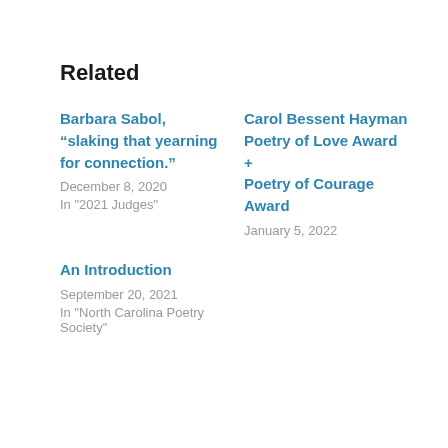Related
Barbara Sabol, “slaking that yearning for connection.”
December 8, 2020
In "2021 Judges"
Carol Bessent Hayman Poetry of Love Award + Poetry of Courage Award
January 5, 2022
An Introduction
September 20, 2021
In "North Carolina Poetry Society"